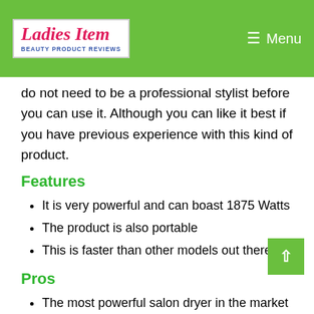Ladies Item – Beauty Product Reviews | Menu
do not need to be a professional stylist before you can use it. Although you can like it best if you have previous experience with this kind of product.
Features
It is very powerful and can boast 1875 Watts
The product is also portable
This is faster than other models out there
Pros
The most powerful salon dryer in the market